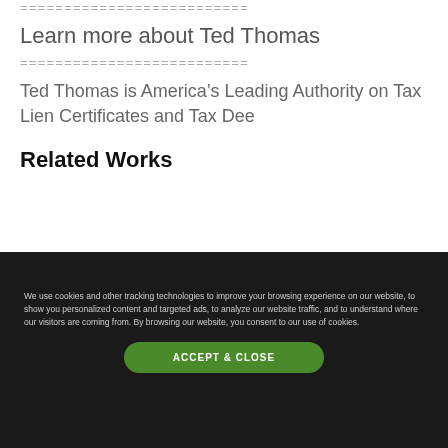==========================
Learn more about Ted Thomas
==========================
Ted Thomas is America’s Leading Authority on Tax Lien Certificates and Tax Dee
Related Works
We use cookies and other tracking technologies to improve your browsing experience on our website, to show you personalized content and targeted ads, to analyze our website traffic, and to understand where our visitors are coming from. By browsing our website, you consent to our use of cookies.
ACCEPT & CLOSE